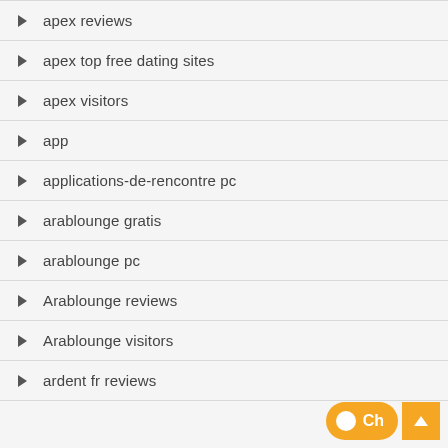apex reviews
apex top free dating sites
apex visitors
app
applications-de-rencontre pc
arablounge gratis
arablounge pc
Arablounge reviews
Arablounge visitors
ardent fr reviews